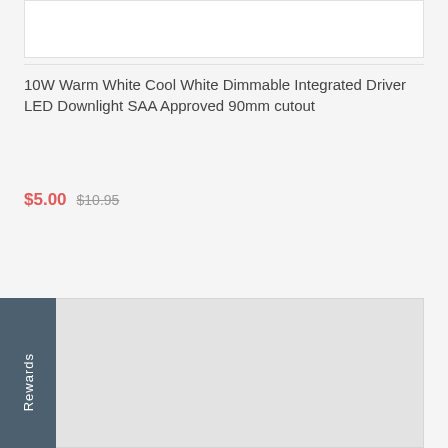[Figure (photo): Product image placeholder box at the top of the page]
10W Warm White Cool White Dimmable Integrated Driver LED Downlight SAA Approved 90mm cutout
$5.00  $10.95
More details
Rewards